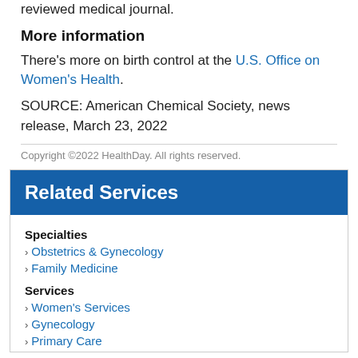reviewed medical journal.
More information
There's more on birth control at the U.S. Office on Women's Health.
SOURCE: American Chemical Society, news release, March 23, 2022
Copyright ©2022 HealthDay. All rights reserved.
Related Services
Specialties
Obstetrics & Gynecology
Family Medicine
Services
Women's Services
Gynecology
Primary Care